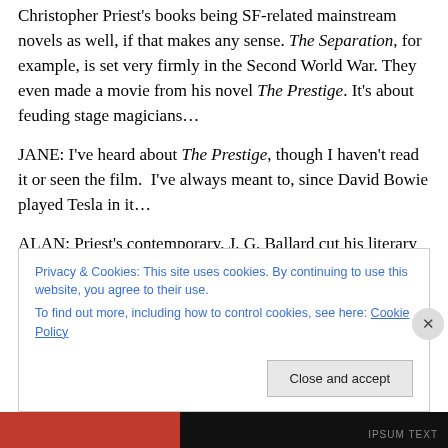Christopher Priest's books being SF-related mainstream novels as well, if that makes any sense. The Separation, for example, is set very firmly in the Second World War. They even made a movie from his novel The Prestige. It's about feuding stage magicians…
JANE: I've heard about The Prestige, though I haven't read it or seen the film.  I've always meant to, since David Bowie played Tesla in it…
ALAN: Priest's contemporary, J. G. Ballard cut his literary teeth in the SF world, but he soon left it far behind. I'm
Privacy & Cookies: This site uses cookies. By continuing to use this website, you agree to their use.
To find out more, including how to control cookies, see here: Cookie Policy